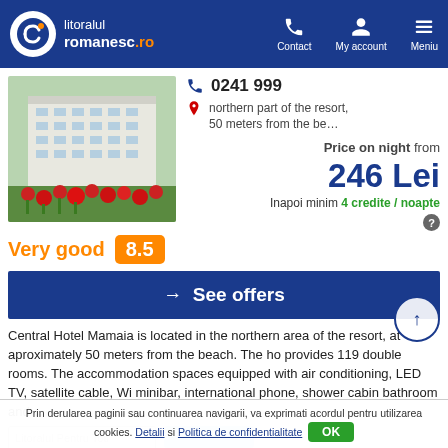litoralul romanesc.ro — Contact | My account | Meniu
[Figure (photo): Hotel exterior photo with red flowers in foreground, multi-storey white hotel building in background]
0241 999
northern part of the resort, 50 meters from the be…
Price on night from
246 Lei
Inapoi minim 4 credite / noapte
Very good  8.5
→ See offers
Central Hotel Mamaia is located in the northern area of the resort, at aproximately 50 meters from the beach. The ho provides 119 double rooms. The accommodation spaces equipped with air conditioning, LED TV, satellite cable, Wi minibar, international phone, shower cabin bathroom and…
Prin derularea paginii sau continuarea navigarii, va exprimati acordul pentru utilizarea cookies. Detalii si Politica de confidentialitate  OK